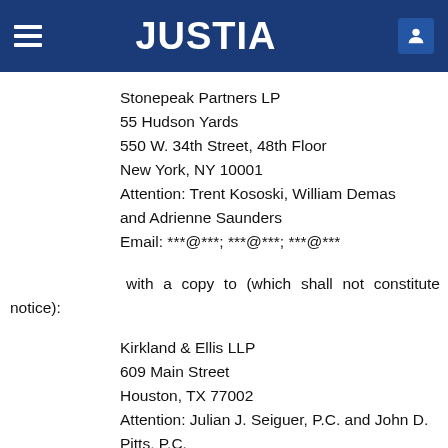JUSTIA
Stonepeak Partners LP
55 Hudson Yards
550 W. 34th Street, 48th Floor
New York, NY 10001
Attention: Trent Kososki, William Demas and Adrienne Saunders
Email: ***@***; ***@***; ***@***
with a copy to (which shall not constitute notice):
Kirkland & Ellis LLP
609 Main Street
Houston, TX 77002
Attention: Julian J. Seiguer, P.C. and John D. Pitts, P.C.